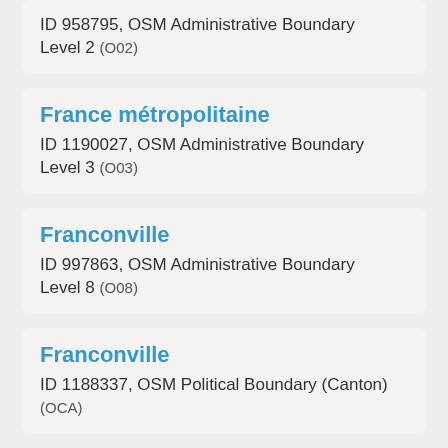ID 958795, OSM Administrative Boundary Level 2 (O02)
France métropolitaine
ID 1190027, OSM Administrative Boundary Level 3 (O03)
Franconville
ID 997863, OSM Administrative Boundary Level 8 (O08)
Franconville
ID 1188337, OSM Political Boundary (Canton) (OCA)